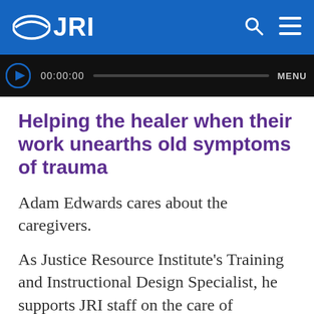JRI
[Figure (screenshot): Video player bar showing timecode 00:00:00 and MENU label on dark background]
Helping the healer when their work unearths old symptoms of trauma
Adam Edwards cares about the caregivers.
As Justice Resource Institute's Training and Instructional Design Specialist, he supports JRI staff on the care of